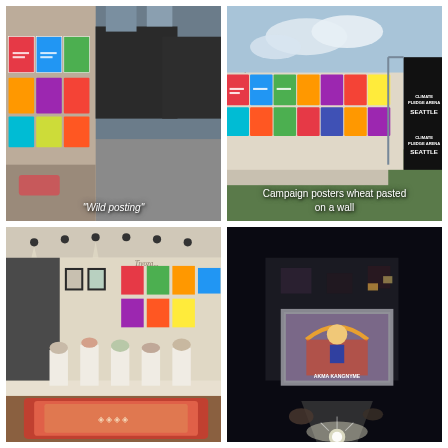[Figure (photo): Street-level photo of colorful campaign posters on a building wall along an alley, labeled 'Wild posting']
[Figure (photo): Outdoor wall covered with colorful campaign posters wheat-pasted in a row, with Climate Pledge Arena Seattle sign visible on the right]
"Wild posting"
Campaign posters wheat pasted on a wall
[Figure (photo): Interior of an art gallery with white pedestals, sculptures, and colorful paintings on walls]
[Figure (photo): Nighttime outdoor scene with a large illuminated poster/banner displayed with a spotlight, and a building in the background]